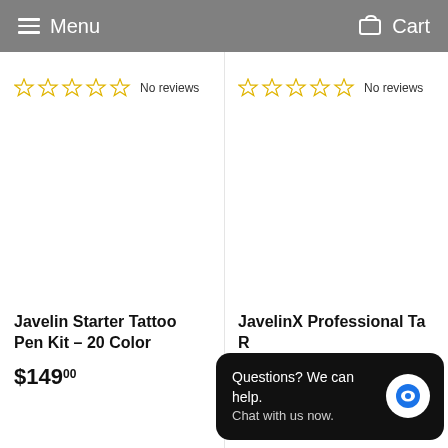Menu   Cart
☆☆☆☆☆ No reviews
☆☆☆☆☆ No reviews
Javelin Starter Tattoo Pen Kit – 20 Color
$149.00
JavelinX Professional Ta... R...
$262.00
Questions? We can help. Chat with us now.